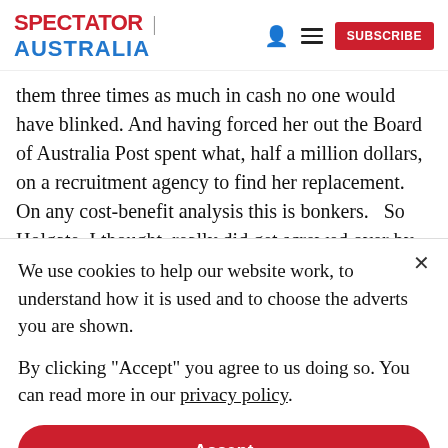SPECTATOR | AUSTRALIA [icons] SUBSCRIBE
them three times as much in cash no one would have blinked. And having forced her out the Board of Australia Post spent what, half a million dollars, on a recruitment agency to find her replacement.   On any cost-benefit analysis this is bonkers.   So Holgate, I thought, really did get screwed over by the PM and this government and by a pusillanimous board
We use cookies to help our website work, to understand how it is used and to choose the adverts you are shown.
By clicking "Accept" you agree to us doing so. You can read more in our privacy policy.
Accept